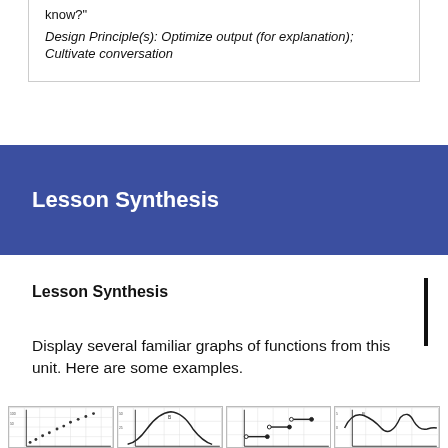know?"
Design Principle(s): Optimize output (for explanation); Cultivate conversation
Lesson Synthesis
Lesson Synthesis
Display several familiar graphs of functions from this unit. Here are some examples.
[Figure (other): Four small graphs of functions displayed in a row at the bottom of the page, partially visible: a scatter plot with dots, a bell-curve-like graph, a step function graph, and a wave/oscillating function graph.]